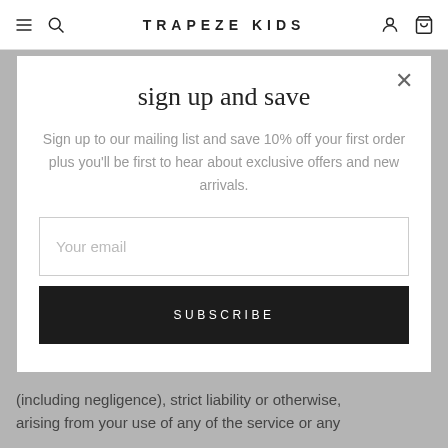TRAPEZE KIDS
[Figure (screenshot): Website modal popup overlay on a page with greyed background text. The modal contains a newsletter signup form.]
sign up and save
Sign up to our mailing list and save 10% off your first order plus you'll be first to hear about exclusive offers and new arrivals.
Your email
SUBSCRIBE
(including negligence), strict liability or otherwise, arising from your use of any of the service or any